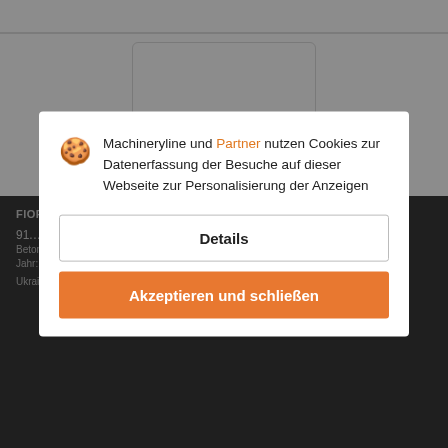[Figure (photo): Empty white image placeholder with light gray border]
FIORI DB X50
91.…
Betonfahrmischer
Jahr: 200…
Ukraine, Chernivtsi
Machineryline und Partner nutzen Cookies zur Datenerfassung der Besuche auf dieser Webseite zur Personalisierung der Anzeigen
Details
Akzeptieren und schließen